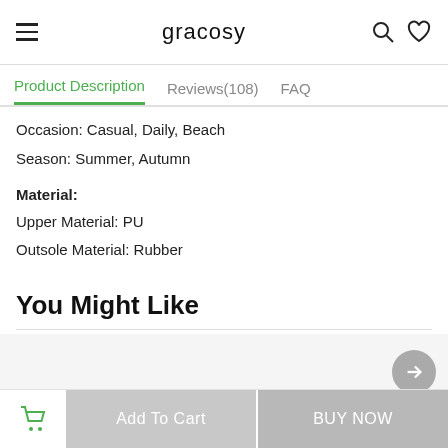gracosy
Product Description  Reviews(108)  FAQ
Occasion: Casual, Daily, Beach
Season: Summer, Autumn
Material:
Upper Material: PU
Outsole Material: Rubber
You Might Like
Add To Cart
BUY NOW